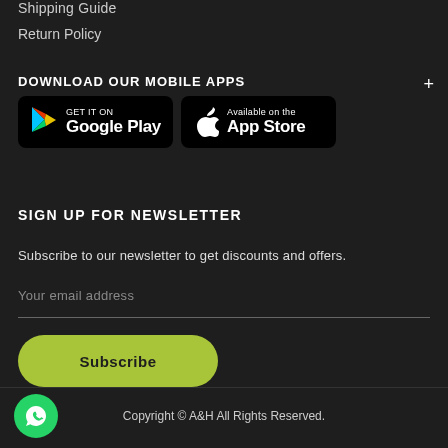Shipping Guide
Return Policy
DOWNLOAD OUR MOBILE APPS
[Figure (other): Google Play and Apple App Store download buttons on dark background]
SIGN UP FOR NEWSLETTER
Subscribe to our newsletter to get discounts and offers.
Your email address
Subscribe
Copyright © A&H All Rights Reserved.